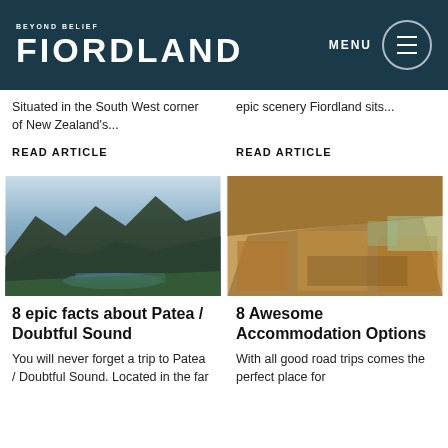BEYOND BELIEF FIORDLAND — MENU
Situated in the South West corner of New Zealand's...
epic scenery Fiordland sits...
READ ARTICLE
READ ARTICLE
[Figure (photo): Aerial view of Patea / Doubtful Sound fiord with mountains and blue water]
[Figure (photo): Interior of a lodge with wooden ceiling, large windows and outdoor views]
8 epic facts about Patea / Doubtful Sound
8 Awesome Accommodation Options
You will never forget a trip to Patea / Doubtful Sound. Located in the far
With all good road trips comes the perfect place for